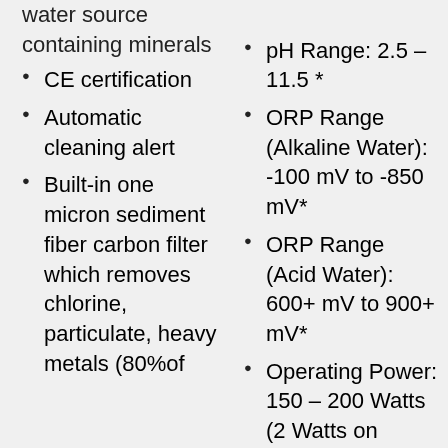water source containing minerals
CE certification
Automatic cleaning alert
Built-in one micron sediment fiber carbon filter which removes chlorine, particulate, heavy metals (80%of
pH Range: 2.5 – 11.5 *
ORP Range (Alkaline Water): -100 mV to -850 mV*
ORP Range (Acid Water): 600+ mV to 900+ mV*
Operating Power: 150 – 200 Watts (2 Watts on standby)